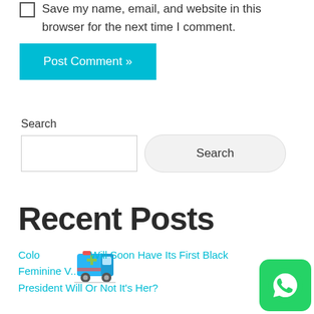Save my name, email, and website in this browser for the next time I comment.
Post Comment »
Search
Search
Recent Posts
Colorado Will Soon Have Its First Black Feminine Vice President Will Or Not It's Her?
[Figure (illustration): Ambulance icon - blue medical transport vehicle with green cross]
[Figure (logo): WhatsApp green rounded square button icon]